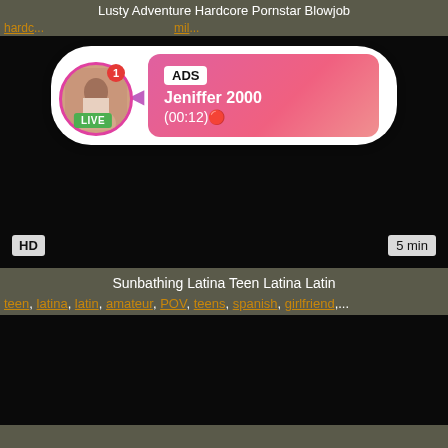Lusty Adventure Hardcore Pornstar Blowjob
hardc... mil...
[Figure (screenshot): Video player showing black screen with HD badge and 5 min duration, overlaid with an advertisement popup showing a live user named Jeniffer 2000 with (00:12) timer]
Sunbathing Latina Teen Latina Latin
teen, latina, latin, amateur, POV, teens, spanish, girlfriend,...
[Figure (screenshot): Second video thumbnail showing black screen]